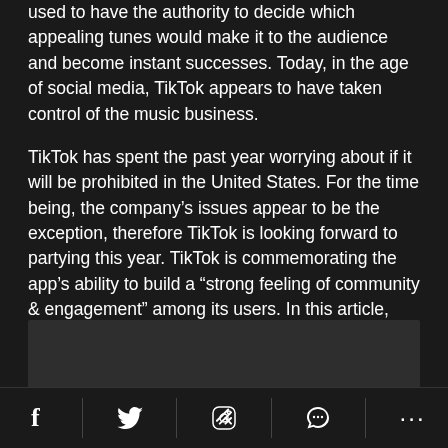used to have the authority to decide which appealing tunes would make it to the audience and become instant successes. Today, in the age of social media, TikTok appears to have taken control of the music business.
TikTok has spent the past year worrying about if it will be prohibited in the United States. For the time being, the company's issues appear to be the exception, therefore TikTok is looking forward to partying this year. TikTok is commemorating the app's ability to build a “strong feeling of community & engagement” among its users. In this article, we're digging away the top TikTok songs so far particularly in December 2021, and combining them into a compact playlist for you all to explore.
[Figure (other): Dark image/media placeholder at the bottom of the article]